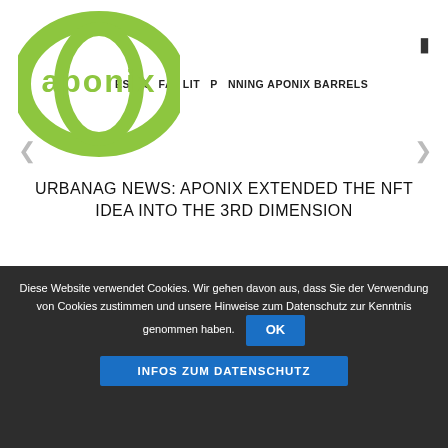RESOURCES FACILITY PLANNING APONIX BARRELS
[Figure (logo): Aponix green DNA helix logo]
URBANAG NEWS: APONIX EXTENDED THE NFT IDEA INTO THE 3RD DIMENSION
LANGUAGES
Diese Website verwendet Cookies. Wir gehen davon aus, dass Sie der Verwendung von Cookies zustimmen und unsere Hinweise zum Datenschutz zur Kenntnis genommen haben.
OK
INFOS ZUM DATENSCHUTZ